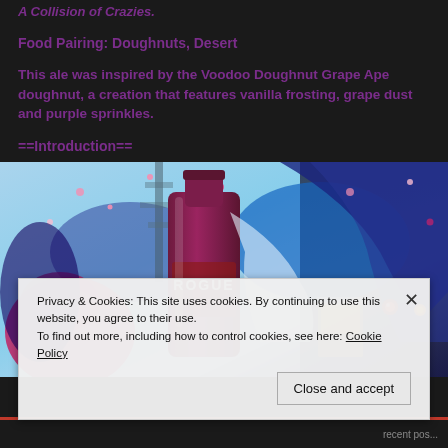A Collision of Crazies.
Food Pairing: Doughnuts, Desert
This ale was inspired by the Voodoo Doughnut Grape Ape doughnut, a creation that features vanilla frosting, grape dust and purple sprinkles.
==Introduction==
[Figure (illustration): Anime-style illustration showing a Rogue beer bottle (pink/red colored) in the foreground with animated characters in the background against a blue sky with pink petals]
Privacy & Cookies: This site uses cookies. By continuing to use this website, you agree to their use.
To find out more, including how to control cookies, see here: Cookie Policy
Close and accept